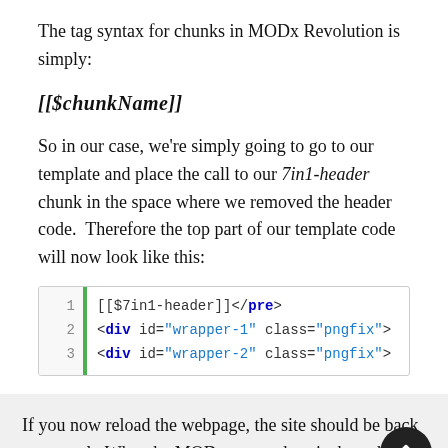The tag syntax for chunks in MODx Revolution is simply:
So in our case, we're simply going to go to our template and place the call to our 7in1-header chunk in the space where we removed the header code. Therefore the top part of our template code will now look like this:
[Figure (screenshot): Code block showing 3 lines: 1: [[$7in1-header]]</pre>, 2: <div id="wrapper-1" class="pngfix">, 3: <div id="wrapper-2" class="pngfix">]
If you now reload the webpage, the site should be back to normal. What the MODx parser does is that when it encounters the chunk call, it pulls in the contents of the